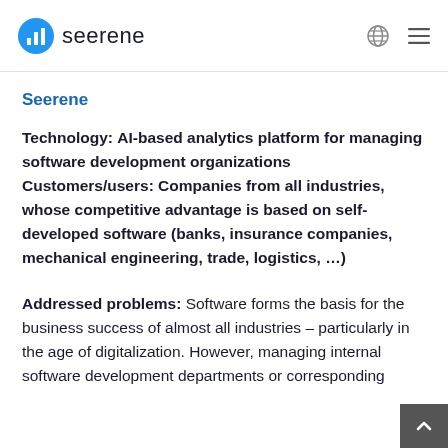seerene
Seerene
Technology: AI-based analytics platform for managing software development organizations Customers/users: Companies from all industries, whose competitive advantage is based on self-developed software (banks, insurance companies, mechanical engineering, trade, logistics, …)
Addressed problems: Software forms the basis for the business success of almost all industries – particularly in the age of digitalization. However, managing internal software development departments or corresponding